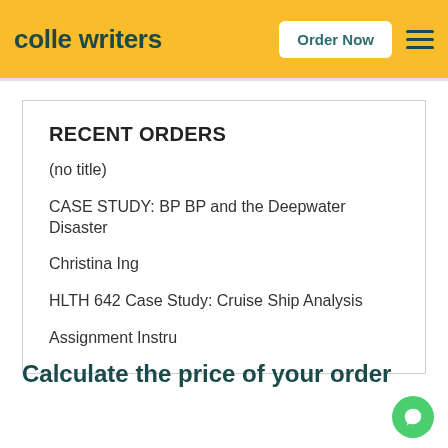colle writers — Order Now
RECENT ORDERS
(no title)
CASE STUDY: BP BP and the Deepwater Disaster
Christina Ing
HLTH 642 Case Study: Cruise Ship Analysis
Assignment Instru
Calculate the price of your order